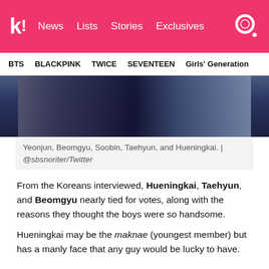k! News Lists Stories Exclusives
BTS BLACKPINK TWICE SEVENTEEN Girls' Generation
[Figure (photo): Photo showing members of TXT (Yeonjun, Beomgyu, Soobin, Taehyun, and Hueningkai) in dark suits against a blue background]
Yeonjun, Beomgyu, Soobin, Taehyun, and Hueningkai. | @sbsnoriter/Twitter
From the Koreans interviewed, Hueningkai, Taehyun, and Beomgyu nearly tied for votes, along with the reasons they thought the boys were so handsome.
Hueningkai may be the maknae (youngest member) but has a manly face that any guy would be lucky to have.